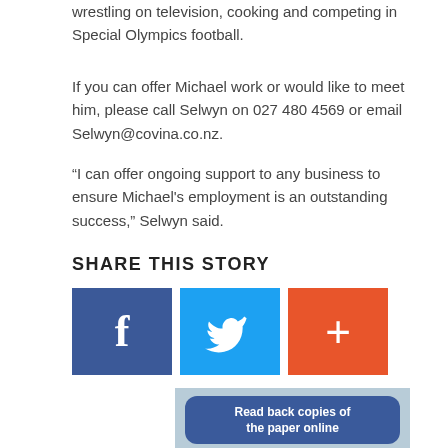wrestling on television, cooking and competing in Special Olympics football.
If you can offer Michael work or would like to meet him, please call Selwyn on 027 480 4569 or email Selwyn@covina.co.nz.
“I can offer ongoing support to any business to ensure Michael's employment is an outstanding success,” Selwyn said.
SHARE THIS STORY
[Figure (infographic): Three social sharing buttons: Facebook (blue with 'f' icon), Twitter (light blue with bird icon), and a plus/more button (orange-red with '+' icon)]
[Figure (infographic): Advertisement banner with blue background: 'Read back copies of the paper online' text over a rounded blue rectangle, with newspaper/tablet imagery below including Cambridge newspaper logo]